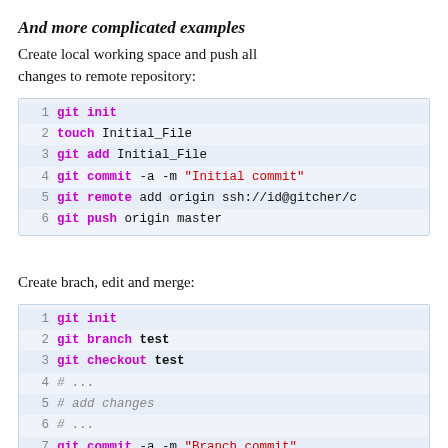And more complicated examples
Create local working space and push all changes to remote repository:
[Figure (screenshot): Code block showing git commands: 1 git init, 2 touch Initial_File, 3 git add Initial_File, 4 git commit -a -m "Initial commit", 5 git remote add origin ssh://id@gitcher/c, 6 git push origin master]
Create brach, edit and merge:
[Figure (screenshot): Code block showing git commands: 1 git init, 2 git branch test, 3 git checkout test, 4 # ..., 5 # add changes, 6 # ..., 7 git commit -a -m "Branch commit"]